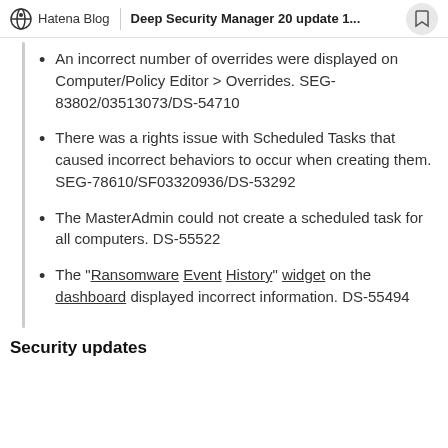Hatena Blog | Deep Security Manager 20 update 1...
An incorrect number of overrides were displayed on Computer/Policy Editor > Overrides. SEG-83802/03513073/DS-54710
There was a rights issue with Scheduled Tasks that caused incorrect behaviors to occur when creating them. SEG-78610/SF03320936/DS-53292
The MasterAdmin could not create a scheduled task for all computers. DS-55522
The "Ransomware Event History" widget on the dashboard displayed incorrect information. DS-55494
Security updates